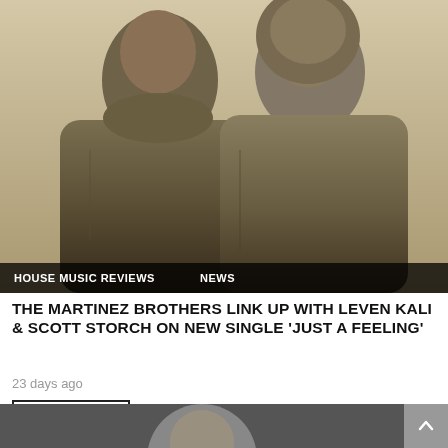[Figure (photo): Two men wearing khaki/olive hooded jackets posed against a beige background. The man on the left has a beard and the man on the right wears a hood up.]
HOUSE MUSIC REVIEWS   NEWS
THE MARTINEZ BROTHERS LINK UP WITH LEVEN KALI & SCOTT STORCH ON NEW SINGLE 'JUST A FEELING'
23 days ago
READ MORE
[Figure (photo): Partial photo visible at the bottom of the page showing a person's head/top.]